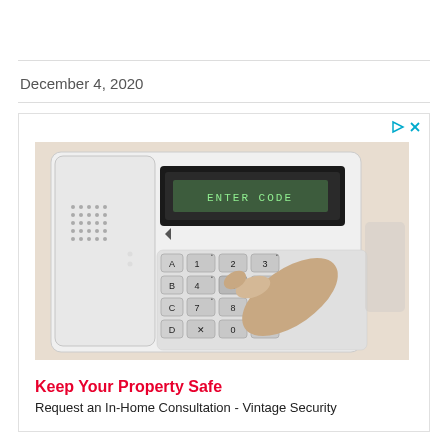December 4, 2020
[Figure (photo): A hand pressing the number 5 on a home security alarm keypad panel. The display reads 'ENTER CODE'. The keypad has buttons labeled A, B, C, D and numbers 1-9, 0, X, check mark.]
Keep Your Property Safe
Request an In-Home Consultation - Vintage Security